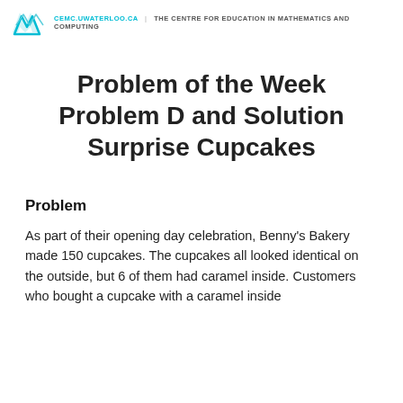CEMC.UWATERLOO.CA | The CENTRE for EDUCATION in MATHEMATICS and COMPUTING
Problem of the Week
Problem D and Solution
Surprise Cupcakes
Problem
As part of their opening day celebration, Benny's Bakery made 150 cupcakes. The cupcakes all looked identical on the outside, but 6 of them had caramel inside. Customers who bought a cupcake with a caramel inside